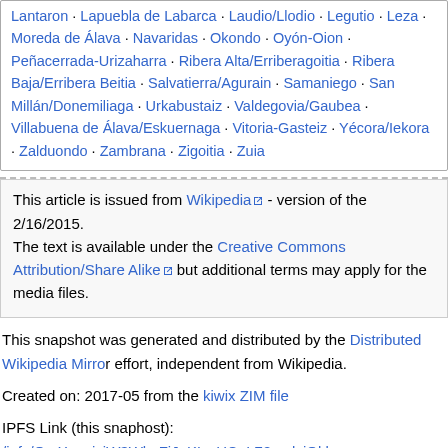Lantaron · Lapuebla de Labarca · Laudio/Llodio · Legutio · Leza · Moreda de Álava · Navaridas · Okondo · Oyón-Oion · Peñacerrada-Urizaharra · Ribera Alta/Erriberagoitia · Ribera Baja/Erribera Beitia · Salvatierra/Agurain · Samaniego · San Millán/Donemiliaga · Urkabustaiz · Valdegovia/Gaubea · Villabuena de Álava/Eskuernaga · Vitoria-Gasteiz · Yécora/Iekora · Zalduondo · Zambrana · Zigoitia · Zuia
This article is issued from Wikipedia - version of the 2/16/2015. The text is available under the Creative Commons Attribution/Share Alike but additional terms may apply for the media files.
This snapshot was generated and distributed by the Distributed Wikipedia Mirror effort, independent from Wikipedia.
Created on: 2017-05 from the kiwix ZIM file
IPFS Link (this snaphost): /ipfs/QmXoypizjW3WknFiJnKLwHCnL72vedxjQkl
IPNS Link (most recent): /ipns/QmdJiuMWp2FxyaerfLrtdLF6Nr1EWpL7dPAx